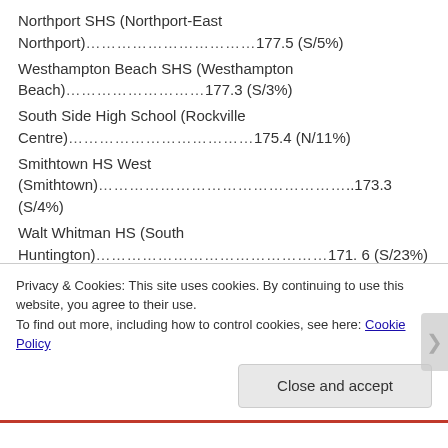Northport SHS (Northport-East Northport)…177.5 (S/5%)
Westhampton Beach SHS (Westhampton Beach)…177.3 (S/3%)
South Side High School (Rockville Centre)…175.4 (N/11%)
Smithtown HS West (Smithtown)…173.3 (S/4%)
Walt Whitman HS (South Huntington)…171. 6 (S/23%)
Floral Park Memorial (Floral Park)…170 .8 (N/10%)
Privacy & Cookies: This site uses cookies. By continuing to use this website, you agree to their use. To find out more, including how to control cookies, see here: Cookie Policy